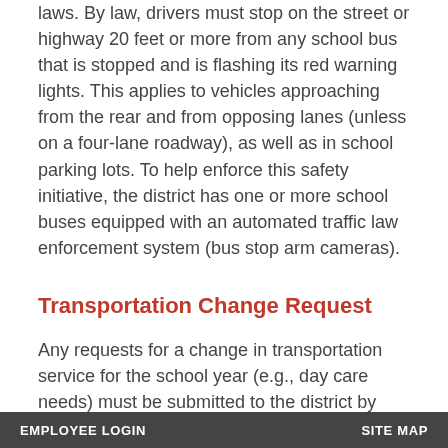laws. By law, drivers must stop on the street or highway 20 feet or more from any school bus that is stopped and is flashing its red warning lights. This applies to vehicles approaching from the rear and from opposing lanes (unless on a four-lane roadway), as well as in school parking lots. To help enforce this safety initiative, the district has one or more school buses equipped with an automated traffic law enforcement system (bus stop arm cameras).
Transportation Change Request
Any requests for a change in transportation service for the school year (e.g., day care needs) must be submitted to the district by completing the Transportation Inquiry Form.
Transportation Decision Tree
District 115 uses a Transportation Decision Tree to
EMPLOYEE LOGIN    SITE MAP